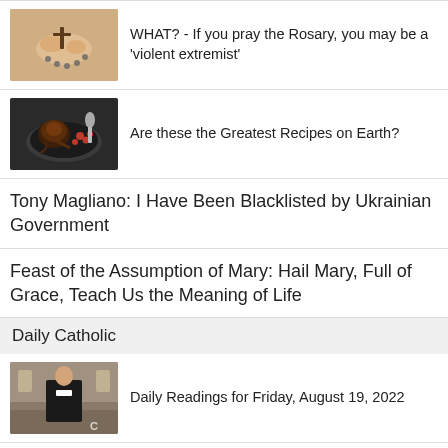[Figure (photo): Hands holding rosary beads with a crucifix]
WHAT? - If you pray the Rosary, you may be a 'violent extremist'
[Figure (photo): Chocolate dessert on a dark plate with red berries]
Are these the Greatest Recipes on Earth?
Tony Magliano: I Have Been Blacklisted by Ukrainian Government
Feast of the Assumption of Mary: Hail Mary, Full of Grace, Teach Us the Meaning of Life
Daily Catholic
[Figure (photo): Priest standing in a church setting]
Daily Readings for Friday, August 19, 2022